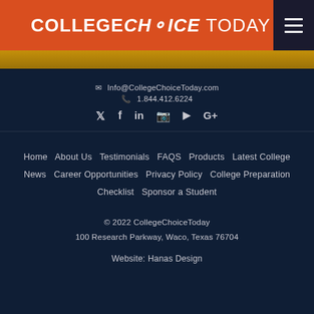COLLEGECHOICE Today
Info@CollegeChoiceToday.com  1.844.412.6224
Social icons: Twitter, Facebook, LinkedIn, Instagram, YouTube, Google+
Home  About Us  Testimonials  FAQS  Products  Latest College News  Career Opportunities  Privacy Policy  College Preparation Checklist  Sponsor a Student
© 2022 CollegeChoiceToday
100 Research Parkway, Waco, Texas 76704
Website: Hanas Design